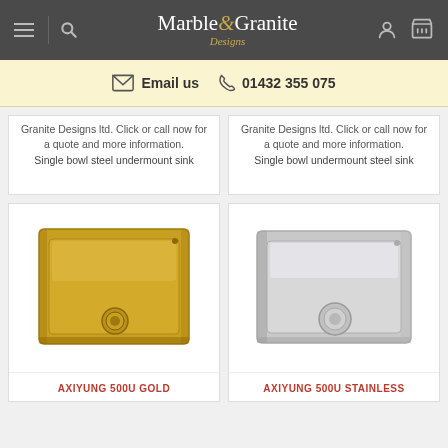Marble & Granite Designs — navigation header with hamburger, search, logo, user, and cart icons
Email us  01432 355 075
Granite Designs ltd. Click or call now for a quote and more information. Single bowl steel undermount sink
Granite Designs ltd. Click or call now for a quote and more information. Single bowl undermount steel sink
[Figure (photo): Gold/brass finish single bowl undermount sink with gold circular drain]
AXIYUNG 500U GOLD
[Figure (photo): Stainless steel single bowl undermount sink with circular drain cover]
AXIYUNG 500U STAINLESS